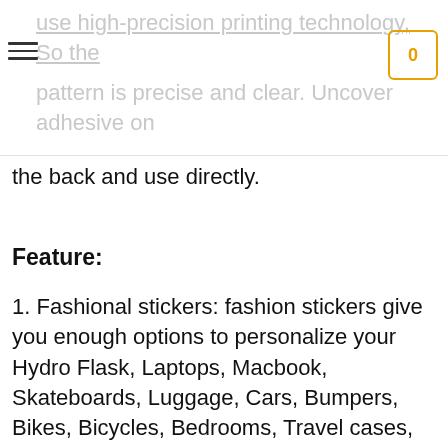use high-precision printing technology, So the pattern is precise and clear. Uncover adhesive on
the back and use directly.
Feature:
1. Fashional stickers: fashion stickers give you enough options to personalize your Hydro Flask, Laptops, Macbook, Skateboards, Luggage, Cars, Bumpers, Bikes, Bicycles, Bedrooms, Travel cases, Bicycle, Motorcycle, Snowboard, wall decals, etc.
2. These stickers packs are also a great gift idea for kids or your friends, We have many styles stickers. Such as VSCO style, Cartoon style, Graffiti style, Funny style, Fresh style ,etc. they'll